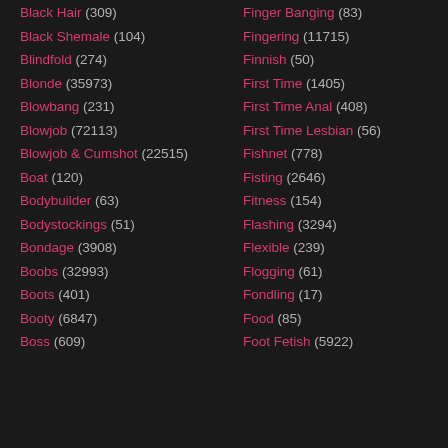Black Hair (309)
Black Shemale (104)
Blindfold (274)
Blonde (35973)
Blowbang (231)
Blowjob (72113)
Blowjob & Cumshot (22515)
Boat (120)
Bodybuilder (63)
Bodystockings (51)
Bondage (3908)
Boobs (32993)
Boots (401)
Booty (6847)
Boss (609)
Finger Banging (83)
Fingering (11715)
Finnish (50)
First Time (1405)
First Time Anal (408)
First Time Lesbian (56)
Fishnet (778)
Fisting (2646)
Fitness (154)
Flashing (3294)
Flexible (239)
Flogging (61)
Fondling (17)
Food (85)
Foot Fetish (5922)